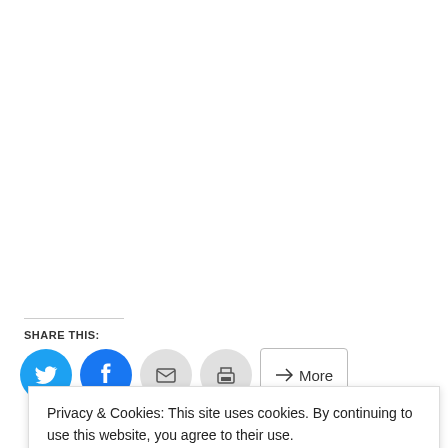SHARE THIS:
[Figure (other): Social sharing buttons: Twitter (blue circle), Facebook (blue circle), Email (grey circle), Print (grey circle), and a More button with share icon]
Privacy & Cookies: This site uses cookies. By continuing to use this website, you agree to their use. To find out more, including how to control cookies, see here: Cookie Policy
Close and accept